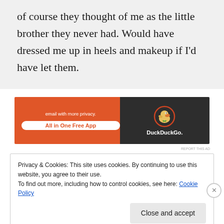of course they thought of me as the little brother they never had. Would have dressed me up in heels and makeup if I'd have let them.
[Figure (screenshot): DuckDuckGo advertisement banner: orange left section with bold text 'email with more privacy.' and pill button 'All in One Free App', dark right section with DuckDuckGo duck logo and brand name.]
Privacy & Cookies: This site uses cookies. By continuing to use this website, you agree to their use.
To find out more, including how to control cookies, see here: Cookie Policy
Close and accept